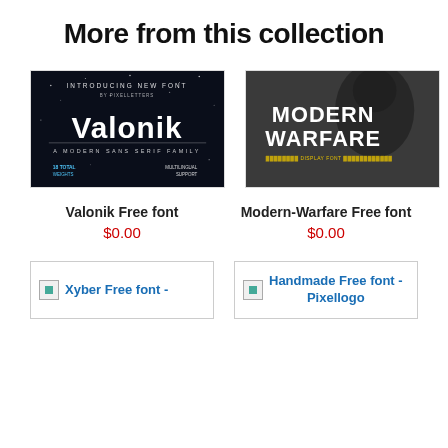More from this collection
[Figure (illustration): Font preview image for Valonik - dark space background with white bold text reading 'Valonik', subtitle 'A Modern Sans Serif Family', '18 Total Weights', 'Multilingual Support']
[Figure (illustration): Font preview image for Modern-Warfare - dark military photo background with white bold text reading 'MODERN WARFARE', yellow text 'DISPLAY FONT']
Valonik Free font
$0.00
Modern-Warfare Free font
$0.00
[Figure (screenshot): Partial image placeholder for Xyber Free font - Pixellogo]
[Figure (screenshot): Partial image placeholder for Handmade Free font - Pixellogo]